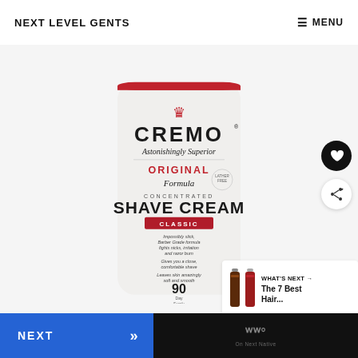NEXT LEVEL GENTS | MENU
[Figure (photo): Cremo Original Formula Concentrated Shave Cream Classic tube product shot on light gray background. White tube with dark red accent stripe at top. Crown logo above CREMO brand name, Astonishingly Superior tagline, ORIGINAL Formula text in red/dark, CONCENTRATED SHAVE CREAM in bold black, CLASSIC in white on dark red banner, plus product descriptions and 90 day supply text. Heart (favorite) and share action buttons on right side. What's Next panel showing hair product thumbnails and text 'The 7 Best Hair...']
WHAT'S NEXT → The 7 Best Hair...
NEXT >> | WW°